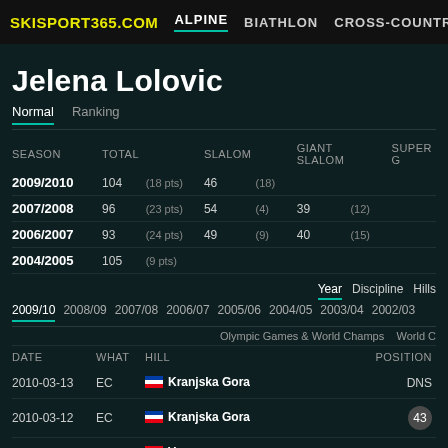SKISPORT365.COM  ALPINE  BIATHLON  CROSS-COUNTRY  NOR.CO
Jelena Lolovic
Normal  Ranking
| SEASON | TOTAL |  | SLALOM |  | GIANT SLALOM |  | SUPER G |
| --- | --- | --- | --- | --- | --- | --- | --- |
| 2009/2010 | 104 | (18 pts) | 46 | (18) |  |  |  |
| 2007/2008 | 96 | (23 pts) | 54 | (4) | 39 | (12) |  |
| 2006/2007 | 93 | (24 pts) | 49 | (9) | 40 | (15) |  |
| 2004/2005 | 105 | (9 pts) |  |  |  |  |  |
Year  Discipline  Hills
2009/10  2008/09  2007/08  2006/07  2005/06  2004/05  2003/04  2002/03
Olympic Games & World Champs  World C
| DATE | WHAT | HILL | POSITION |
| --- | --- | --- | --- |
| 2010-03-13 | EC | Kranjska Gora | DNS |
| 2010-03-12 | EC | Kranjska Gora | 43 |
| 2010-02-26 | OWG | Vancouver | DNS |